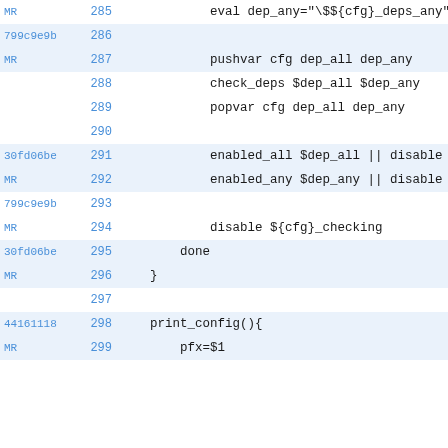Code diff view showing lines 285-299 of a shell script with commit hashes MR, 799c9e9b, 30fd06be, 44161118 and corresponding code for dependency checking and print_config function